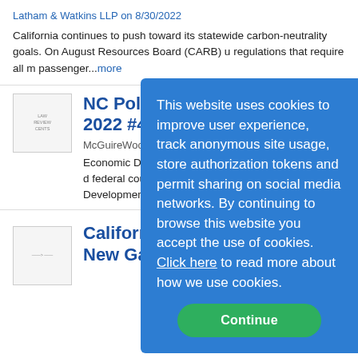Latham & Watkins LLP on 8/30/2022
California continues to push toward its statewide carbon-neutrality goals. On August Resources Board (CARB) u regulations that require all m passenger...more
[Figure (logo): Small logo thumbnail for NC Politics article]
NC Politics in the 2022 #4
McGuireWoods Consulting o
Economic Development - W JOURNAL: NC economic d federal council - Christophe the Economic Development named Tuesday to a two-yea
[Figure (other): Cookie consent overlay - blue box with text: This website uses cookies to improve user experience, track anonymous site usage, store authorization tokens and permit sharing on social media networks. By continuing to browse this website you accept the use of cookies. Click here to read more about how we use cookies. Continue button.]
[Figure (logo): Small logo thumbnail for California Hits the Brakes article]
California Hits the Brakes on New Gas-Fueled Vehicles